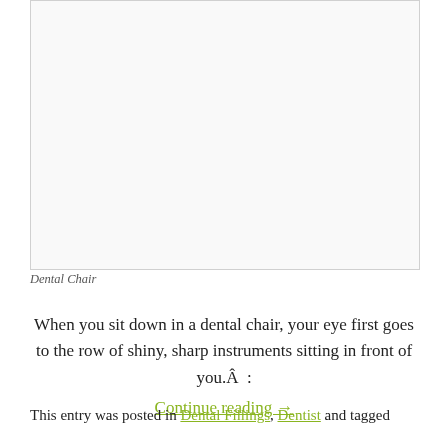[Figure (photo): Blank/white dental chair photo placeholder area with a light border]
Dental Chair
When you sit down in a dental chair, your eye first goes to the row of shiny, sharp instruments sitting in front of you.Â  : Continue reading →
This entry was posted in Dental Fillings, Dentist and tagged